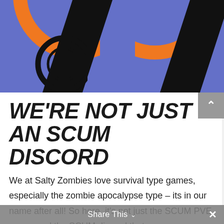[Figure (illustration): Partial view of a stylized logo on a blue/purple background featuring orange arcs (partial circle outlines) and thick black diagonal bands suggesting a gear or mechanical emblem, consistent with Salty Zombies branding.]
WE'RE NOT JUST AN SCUM DISCORD
We at Salty Zombies love survival type games, especially the zombie apocalypse type – its in our name after all! So here, it's not just the SCUM PVE server and the SCUM discord that